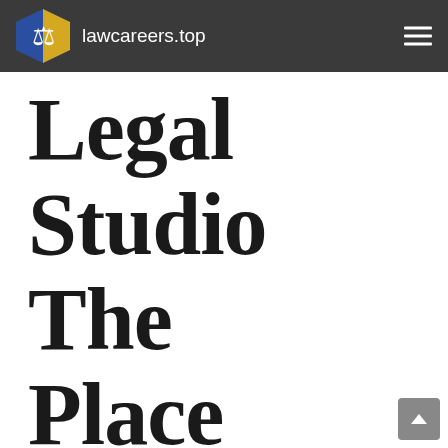lawcareers.top
Legal Studio The Place For Talented, Enterprising